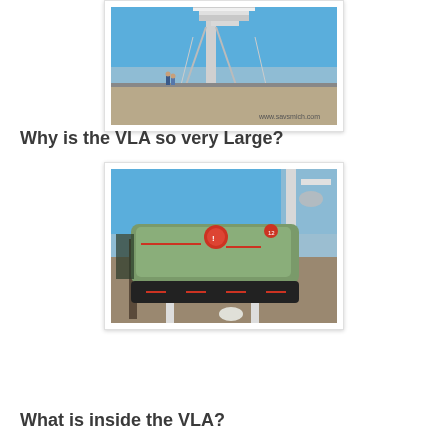[Figure (photo): Photo of a large VLA radio telescope dish from below, with people standing nearby for scale. Blue sky background, desert terrain. Watermark: www.savsmich.com]
Why is the VLA so very Large?
[Figure (photo): Photo of an informational display sign/kiosk in front of a VLA radio telescope. The sign has a map and red circular markers on it. Blue sky and desert background.]
What is inside the VLA?